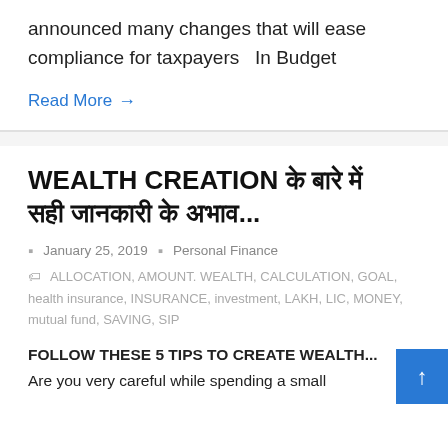announced many changes that will ease compliance for taxpayers   In Budget
Read More →
WEALTH CREATION के बारे में सही जानकारी के अभाव...
January 25, 2019  Personal Finance
ALLOCATION, AMOUNT. WEALTH, CALCULATION, GOAL, health insurance, INSURANCE, investment, LAKH, LIC, MONEY, mutual fund, SAVING, SIP
FOLLOW THESE 5 TIPS TO CREATE WEALTH...
Are you very careful while spending a small